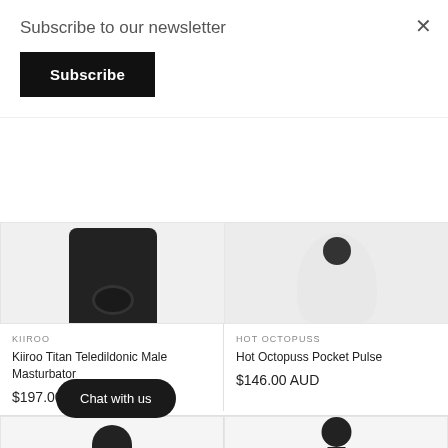Subscribe to our newsletter
Subscribe
×
KIIROO
Kiiroo Titan Teledildonic Male Masturbator
$197.00 AUD
HOT OCTOPUSS
Hot Octopuss Pocket Pulse
$146.00 AUD
[Figure (photo): Bottom of dark cylindrical male masturbator device]
[Figure (photo): White dome-shaped device with dark top]
[Figure (photo): Red and black device partially visible]
[Figure (photo): Black and white elongated device partially visible]
Chat with us